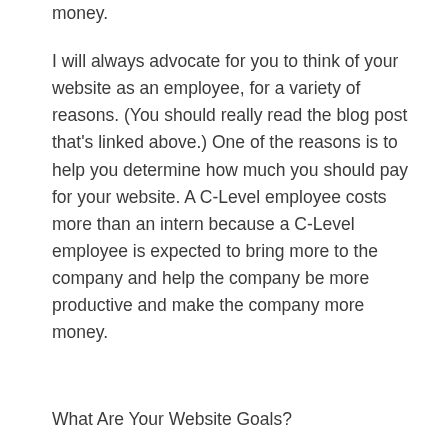money.
I will always advocate for you to think of your website as an employee, for a variety of reasons. (You should really read the blog post that's linked above.) One of the reasons is to help you determine how much you should pay for your website. A C-Level employee costs more than an intern because a C-Level employee is expected to bring more to the company and help the company be more productive and make the company more money.
What Are Your Website Goals?